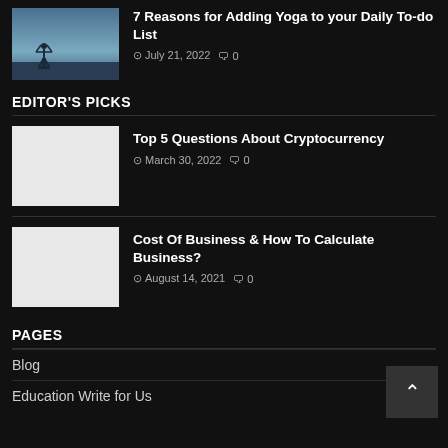[Figure (photo): Yoga person on dock/pier at sunset silhouette]
7 Reasons for Adding Yoga to your Daily To-do List
July 21, 2022   0
EDITOR'S PICKS
[Figure (photo): White/blank image placeholder for cryptocurrency article]
Top 5 Questions About Cryptocurrency
March 30, 2022   0
[Figure (photo): White/blank image placeholder for business article]
Cost Of Business & How To Calculate Business?
August 14, 2021   0
PAGES
Blog
Education Write for Us